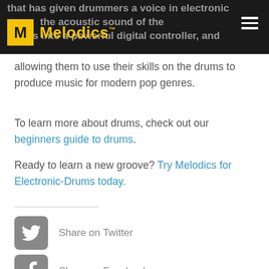Melodics — that has given drummers a voice in electronic … the acoustic sound of the drums into a powerful digital controller, and
allowing them to use their skills on the drums to produce music for modern pop genres.
To learn more about drums, check out our beginners guide to drums.
Ready to learn a new groove? Try Melodics for Electronic-Drums today.
Share on Twitter
Share on Facebook